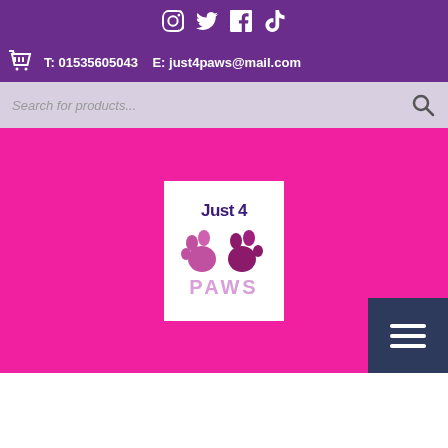Social media icons: Instagram, Twitter, Facebook, TikTok
T: 01535605043  E: just4paws@mail.com
Search for products...
[Figure (logo): Just 4 Paws logo — text 'Just 4' in dark purple, two pink paw prints, text 'PAWS' in light pink, on a white background, set against a hot-pink page background]
[Figure (other): Hamburger menu button (three horizontal white lines) on dark navy background, bottom-right corner]